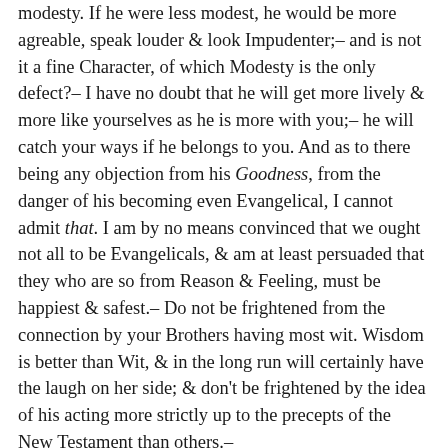modesty. If he were less modest, he would be more agreable, speak louder & look Impudenter;– and is not it a fine Character, of which Modesty is the only defect?– I have no doubt that he will get more lively & more like yourselves as he is more with you;– he will catch your ways if he belongs to you.  And as to there being any objection from his Goodness, from the danger of his becoming even Evangelical, I cannot admit that.  I am by no means convinced that we ought not all to be Evangelicals, & am at least persuaded that they who are so from Reason & Feeling, must be happiest & safest.– Do not be frightened from the connection by your Brothers having most wit.  Wisdom is better than Wit, & in the long run will certainly have the laugh on her side; & don't be frightened by the idea of his acting more strictly up to the precepts of the New Testament than others.–